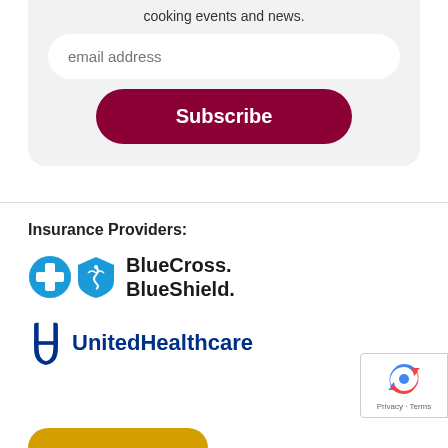cooking events and news.
email address
Subscribe
Insurance Providers:
[Figure (logo): BlueCross BlueShield logo with blue cross and blue shield icons]
[Figure (logo): UnitedHealthcare logo with UH ribbon icon in dark blue]